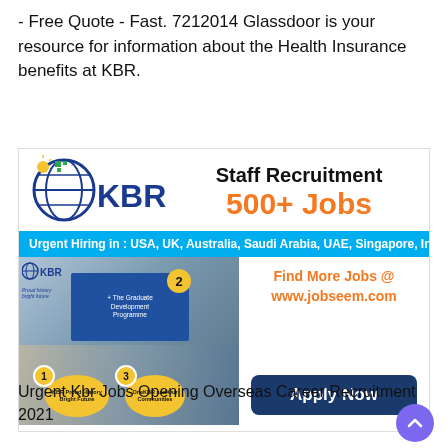- Free Quote - Fast. 7212014 Glassdoor is your resource for information about the Health Insurance benefits at KBR.
[Figure (infographic): KBR Staff Recruitment advertisement showing KBR logo, '500+ Jobs', blue banner with urgent hiring locations (USA, UK, Australia, Saudi Arabia, UAE, Singapore, India & More...), a photo of people in a meeting with KBR programme slides, and links to Find More Jobs @ www.jobseem.com with an Apply Now button.]
Urgent Kbr Jobs Opening Overseas Career Recruitment 2021